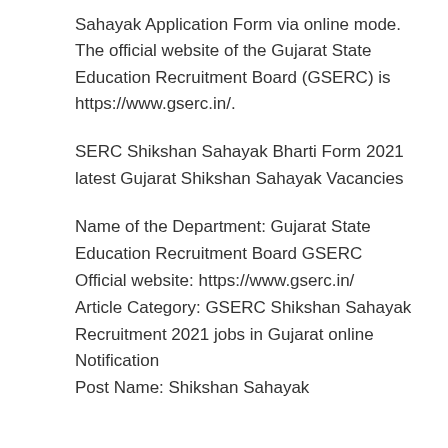Sahayak Application Form via online mode. The official website of the Gujarat State Education Recruitment Board (GSERC) is https://www.gserc.in/.
SERC Shikshan Sahayak Bharti Form 2021 latest Gujarat Shikshan Sahayak Vacancies
Name of the Department: Gujarat State Education Recruitment Board GSERC
Official website: https://www.gserc.in/
Article Category: GSERC Shikshan Sahayak Recruitment 2021 jobs in Gujarat online Notification
Post Name: Shikshan Sahayak